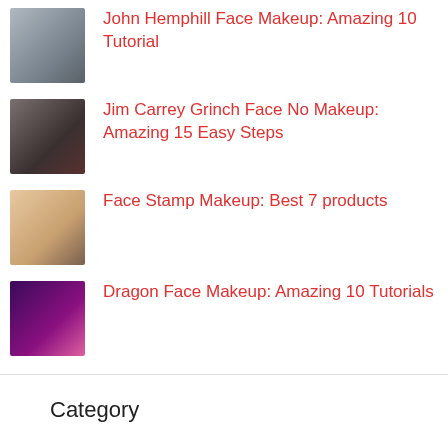John Hemphill Face Makeup: Amazing 10 Tutorial
Jim Carrey Grinch Face No Makeup: Amazing 15 Easy Steps
Face Stamp Makeup: Best 7 products
Dragon Face Makeup: Amazing 10 Tutorials
Category
Eye makeup (48)
Face Makeup (38)
Makeup Look (66)